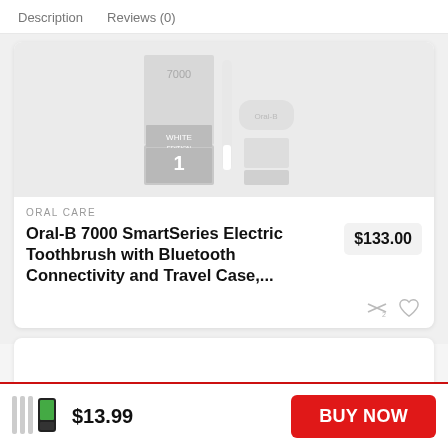Description   Reviews (0)
[Figure (photo): Product image of Oral-B 7000 SmartSeries Electric Toothbrush in white edition packaging]
ORAL CARE
Oral-B 7000 SmartSeries Electric Toothbrush with Bluetooth Connectivity and Travel Case,...
$133.00
[Figure (photo): Small thumbnail image of a toothbrush product]
$13.99
BUY NOW